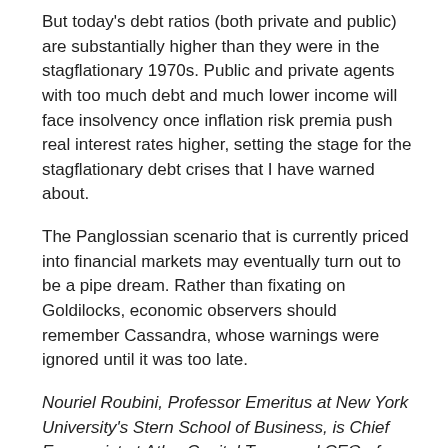But today's debt ratios (both private and public) are substantially higher than they were in the stagflationary 1970s. Public and private agents with too much debt and much lower income will face insolvency once inflation risk premia push real interest rates higher, setting the stage for the stagflationary debt crises that I have warned about.
The Panglossian scenario that is currently priced into financial markets may eventually turn out to be a pipe dream. Rather than fixating on Goldilocks, economic observers should remember Cassandra, whose warnings were ignored until it was too late.
Nouriel Roubini, Professor Emeritus at New York University's Stern School of Business, is Chief Economist at Atlas Capital Team and CEO of Roubini Macro Associates.
www.project-syndicate.org
© Project Syndicate 2023